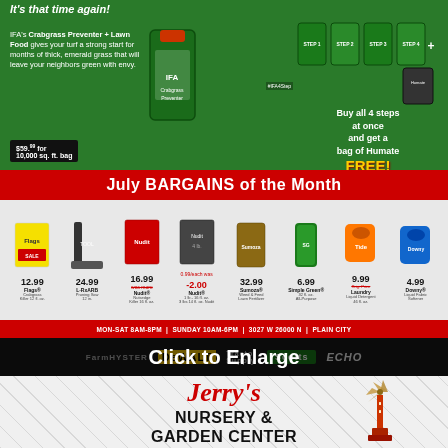[Figure (infographic): IFA Crabgrass Preventer + Lawn Food advertisement on green background. Shows product bag and multiple step bags. Text: It's that time again! IFA's Crabgrass Preventer + Lawn Food gives your turf a strong start for months of thick, emerald grass that will leave your neighbors green with envy. Price: $59.99 for 10,000 sq. ft. bag. Right side: Buy all 4 steps at once and get a bag of Humate FREE!]
July BARGAINS of the Month
[Figure (infographic): July Bargains of the Month product lineup on gray background showing 7 products with prices: 12.99 Flags, 24.99 L-RxARB, 16.99 Nudit, -2.00 sale item, 32.99 Sumoza, 6.99 Simple Green, 9.99 Laundry detergent, 4.99 Downy]
MON-SAT 8AM-8PM | SUNDAY 10AM-6PM | 3027 W 26000 N | PLAIN CITY
[Figure (infographic): Brand logos bar: FarmHYSTER, DeWALT, Tractor Supply Co, Scotts, ECHO. Overlaid with 'Click to Enlarge' text.]
[Figure (infographic): Jerry's Nursery & Garden Center advertisement on tiled/grid background with windmill image. Text: Jerry's NURSERY & GARDEN CENTER. Raspberry and Strawberry plants now available. SALE Seed Geraniums. ferti-lome logo.]